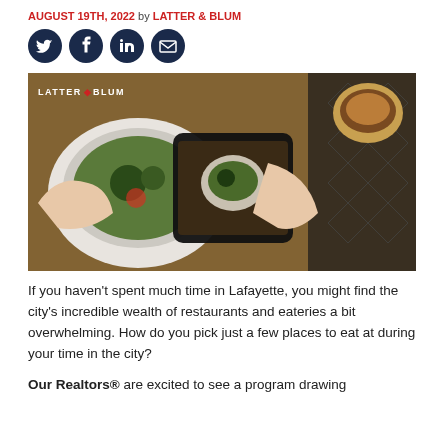AUGUST 19TH, 2022 by LATTER & BLUM
[Figure (illustration): Four social media icons in dark navy circles: Twitter bird, Facebook f, LinkedIn in, and email envelope]
[Figure (photo): Overhead view of a person holding a smartphone photographing a bowl of salad on a wooden table with coffee and other food items. LATTER & BLUM logo watermark in top left.]
If you haven't spent much time in Lafayette, you might find the city's incredible wealth of restaurants and eateries a bit overwhelming. How do you pick just a few places to eat at during your time in the city?
Our Realtors® are excited to see a program drawing